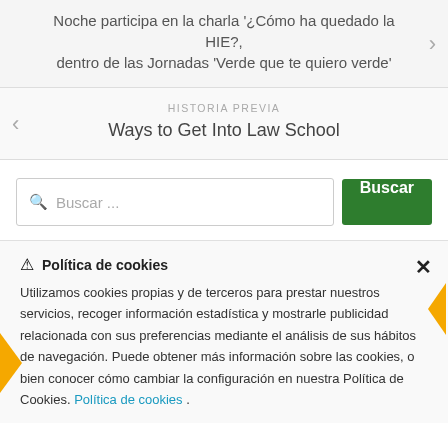Noche participa en la charla '¿Cómo ha quedado la HIE?, dentro de las Jornadas 'Verde que te quiero verde'
HISTORIA PREVIA
Ways to Get Into Law School
Buscar ...
Buscar
Política de cookies
Utilizamos cookies propias y de terceros para prestar nuestros servicios, recoger información estadística y mostrarle publicidad relacionada con sus preferencias mediante el análisis de sus hábitos de navegación. Puede obtener más información sobre las cookies, o bien conocer cómo cambiar la configuración en nuestra Política de Cookies. Política de cookies .